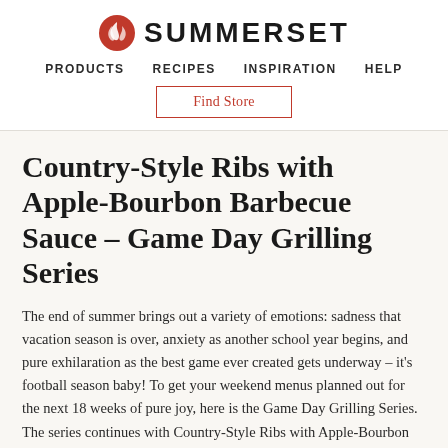SUMMERSET
PRODUCTS   RECIPES   INSPIRATION   HELP
Find Store
Country-Style Ribs with Apple-Bourbon Barbecue Sauce – Game Day Grilling Series
The end of summer brings out a variety of emotions: sadness that vacation season is over, anxiety as another school year begins, and pure exhilaration as the best game ever created gets underway – it's football season baby! To get your weekend menus planned out for the next 18 weeks of pure joy, here is the Game Day Grilling Series. The series continues with Country-Style Ribs with Apple-Bourbon Barbecue Sauce,